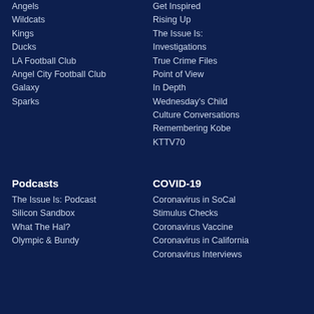Angels
Wildcats
Kings
Ducks
LA Football Club
Angel City Football Club
Galaxy
Sparks
Get Inspired
Rising Up
The Issue Is:
Investigations
True Crime Files
Point of View
In Depth
Wednesday's Child
Culture Conversations
Remembering Kobe
KTTV70
Podcasts
The Issue Is: Podcast
Silicon Sandbox
What The Hal?
Olympic & Bundy
COVID-19
Coronavirus in SoCal
Stimulus Checks
Coronavirus Vaccine
Coronavirus in California
Coronavirus Interviews